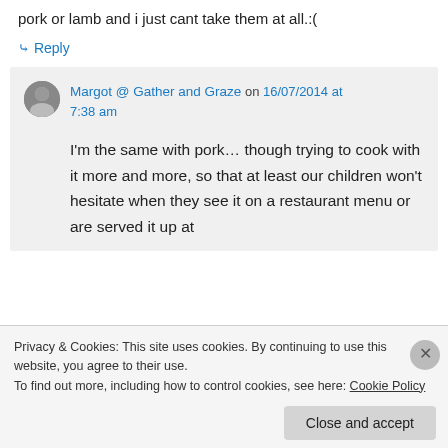pork or lamb and i just cant take them at all.:(
↳ Reply
Margot @ Gather and Graze on 16/07/2014 at 7:38 am
I'm the same with pork… though trying to cook with it more and more, so that at least our children won't hesitate when they see it on a restaurant menu or are served it up at
Privacy & Cookies: This site uses cookies. By continuing to use this website, you agree to their use.
To find out more, including how to control cookies, see here: Cookie Policy
Close and accept